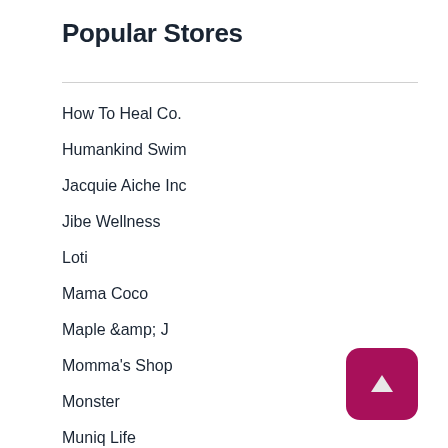Popular Stores
How To Heal Co.
Humankind Swim
Jacquie Aiche Inc
Jibe Wellness
Loti
Mama Coco
Maple &amp; J
Momma's Shop
Monster
Muniq Life
Onramp Funds